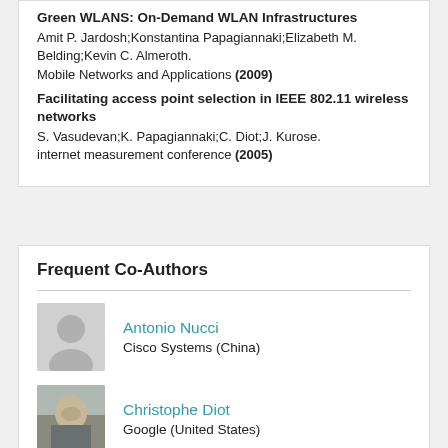Green WLANS: On-Demand WLAN Infrastructures
Amit P. Jardosh;Konstantina Papagiannaki;Elizabeth M. Belding;Kevin C. Almeroth.
Mobile Networks and Applications (2009)
Facilitating access point selection in IEEE 802.11 wireless networks
S. Vasudevan;K. Papagiannaki;C. Diot;J. Kurose.
internet measurement conference (2005)
Frequent Co-Authors
Antonio Nucci
Cisco Systems (China)
Christophe Diot
Google (United States)